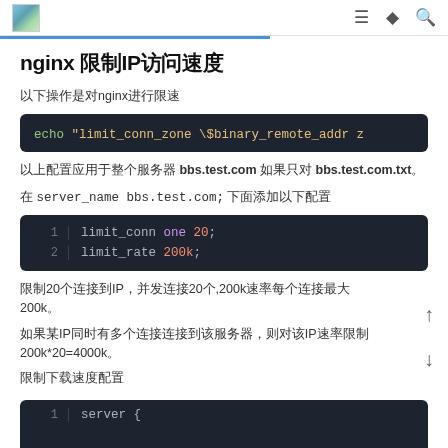nginx IP限速页面 — navigation bar
nginx 限制IP访问速度
以下操作是对nginx进行限速
[Figure (screenshot): Code block: echo "limit_conn_zone \$binary_remote_addr z...]
以上配置应用于整个服务器 bbs.test.com 如果只对 bbs.test.com.txt。
在 server_name bbs.test.com; 下面添加以下配置
[Figure (screenshot): Numbered code block:
1  limit_conn one 20;
2  limit_rate 200k;]
限制20个连接到IP，并发连接20个,200k速率每个连接最大200k。
如果某IP同时有多个连接连接到该服务器，则对该IP速率限制200k*20=4000k。
限制下载速度配置
[Figure (screenshot): Bottom partial code block with line number 1]